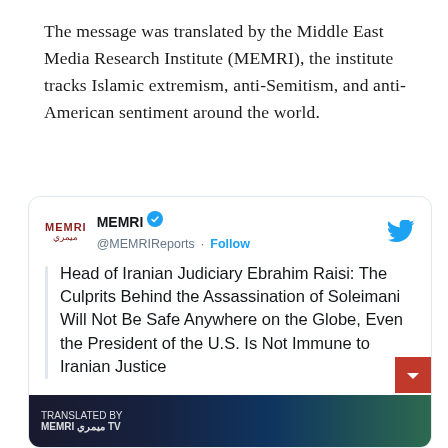The message was translated by the Middle East Media Research Institute (MEMRI), the institute tracks Islamic extremism, anti-Semitism, and anti-American sentiment around the world.
[Figure (screenshot): A Twitter/X post from @MEMRIReports (MEMRI verified account) with tweet text: 'Head of Iranian Judiciary Ebrahim Raisi: The Culprits Behind the Assassination of Soleimani Will Not Be Safe Anywhere on the Globe, Even the President of the U.S. Is Not Immune to Iranian Justice'. Below the tweet text is a partial screenshot of a MEMRI TV video thumbnail.]